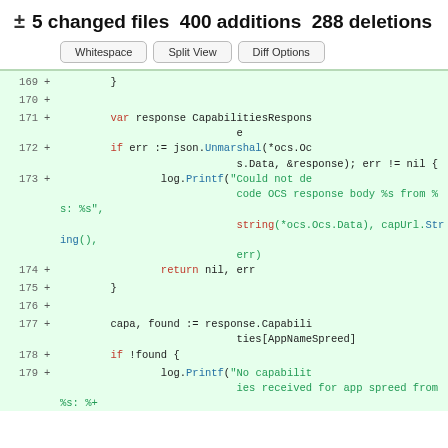± 5 changed files 400 additions 288 deletions
Whitespace | Split View | Diff Options
[Figure (screenshot): Code diff view showing lines 169-179 of a Go source file with added lines (marked with +) on green background. Code includes variable declarations, JSON unmarshaling, error handling, and capability lookups.]